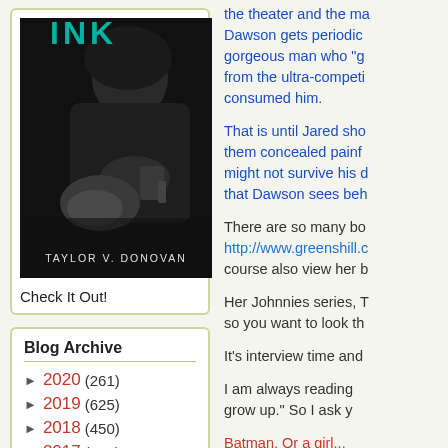[Figure (photo): Book cover for 'INK' by Taylor V. Donovan — black and white photo of a person tattooing, with teal/green title text 'INK' at top and author name at bottom]
Check It Out!
Blog Archive
► 2020 (261)
► 2019 (625)
► 2018 (450)
► 2017 (304)
the theater and the ma... Dawson gets periodic... gorgeous man who "g... from the ultra-competi... consumed him.
That is until Jared sho... them concealed painf... might not survive his d... that Dawson sees beh...
There are so many bo... http://www.greenshill.c... course also view her b...
Her Johnnies series, T... so you want to look th...
It's interview time and...
I am always reading... grow up." So I ask y...
Batman. Or a girl...